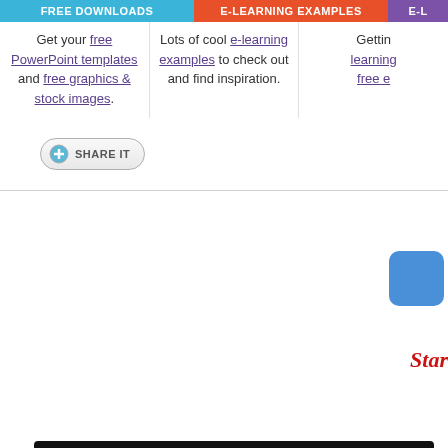FREE DOWNLOADS | E-LEARNING EXAMPLES | E-L...
Get your free PowerPoint templates and free graphics & stock images.
Lots of cool e-learning examples to check out and find inspiration.
Getting... learning... free e...
[Figure (screenshot): Share It button with circular blue plus icon]
[Figure (screenshot): Cookie consent overlay on dark background with close X button, privacy notice link, and partial app screenshot on right side]